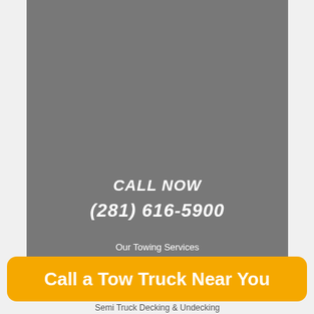[Figure (photo): Gray panel background representing a towing service advertisement with call-to-action text overlaid]
CALL NOW
(281) 616-5900
Our Towing Services
Call a Tow Truck Near You
Semi Truck Decking & Undecking